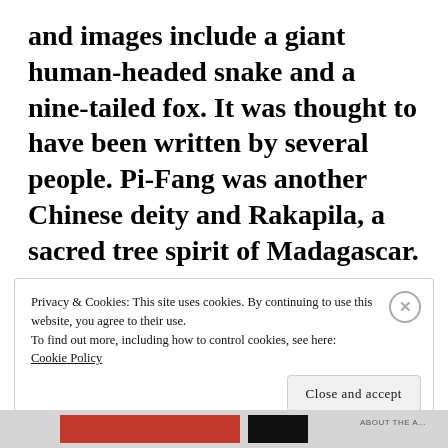and images include a giant human-headed snake and a nine-tailed fox. It was thought to have been written by several people. Pi-Fang was another Chinese deity and Rakapila, a sacred tree spirit of Madagascar.
Privacy & Cookies: This site uses cookies. By continuing to use this website, you agree to their use.
To find out more, including how to control cookies, see here: Cookie Policy
Close and accept